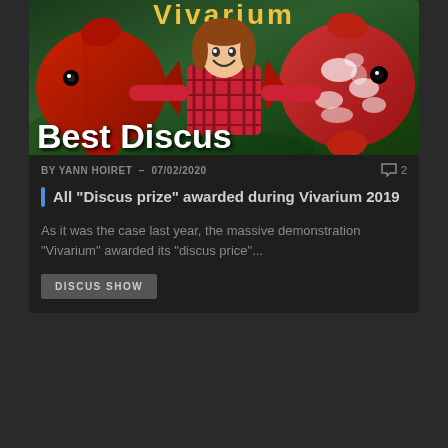[Figure (photo): Thumbnail image showing the text 'Vivarium' at top, 'Best Discus' at bottom, a girl in a red plaid shirt in the center with arms outstretched, a solid red discus fish on the left, and a red-and-white patterned discus fish on the right, against a green aquatic background.]
BY YANN HOIRET  –  07/02/2020
2
All "Discus prize" awarded during Vivarium 2019
As it was the case last year, the massive demonstration "Vivarium" awarded its "discus price"...
DISCUS SHOW